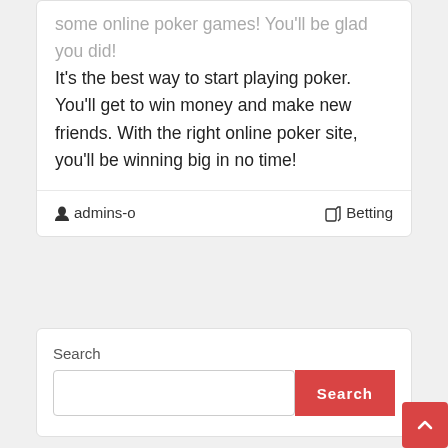some online poker games! You'll be glad you did! It's the best way to start playing poker. You'll get to win money and make new friends. With the right online poker site, you'll be winning big in no time!
admins-o   Betting
Search